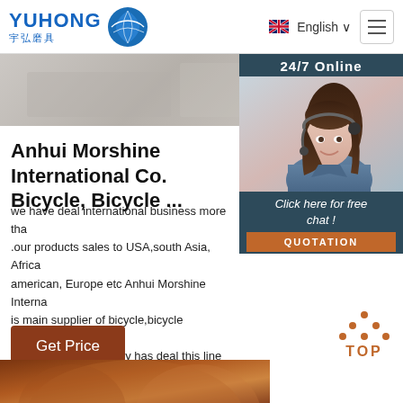[Figure (logo): YUHONG 宇弘磨具 logo with blue globe icon]
English ∨
[Figure (photo): Hero banner image strip - grey/beige background]
[Figure (photo): 24/7 Online chat widget with female agent photo, 'Click here for free chat!' and QUOTATION button]
Anhui Morshine International Co. Bicycle, Bicycle ...
we have deal international business more tha .our products sales to USA,south Asia, Africa american, Europe etc Anhui Morshine Interna is main supplier of bicycle,bicycle parts,abras backpack,our company has deal this line mo years,we have competitive price and good qu
Get Price
[Figure (other): TOP navigation button with orange dots and text]
[Figure (photo): Bottom product image - brown/copper colored item partially visible]